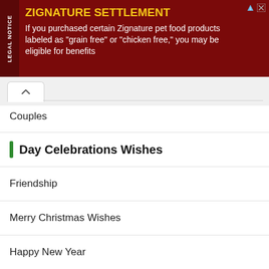[Figure (other): Advertisement banner for Zignature Settlement with dark red background, legal notice tab on left, yellow title 'ZIGNATURE SETTLEMENT', white body text about grain free or chicken free pet food products]
Couples
Day Celebrations Wishes
Friendship
Merry Christmas Wishes
Happy New Year
Independence Day Wishes USA
Valentine Wishes Your Name And Photo
Republic Day Wishes Name And Photo